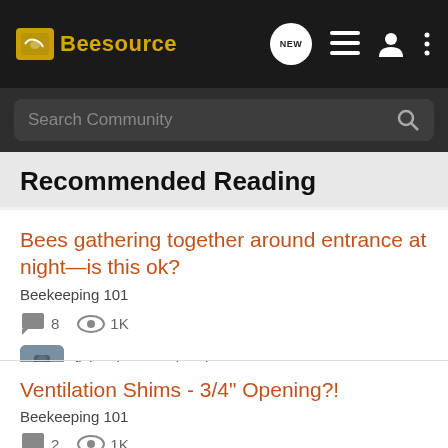Beesource
Search Community
Recommended Reading
Bees gathering together around entrance at night—is this ok?
Beekeeping 101
8 replies · 1K views · fishewbee · updated Jun 17, 2021
Ventilation Shims - 3/4" Opening?!
Beekeeping 101
2 replies · 1K views · wallyblackburn · updated Oct 2, 2015